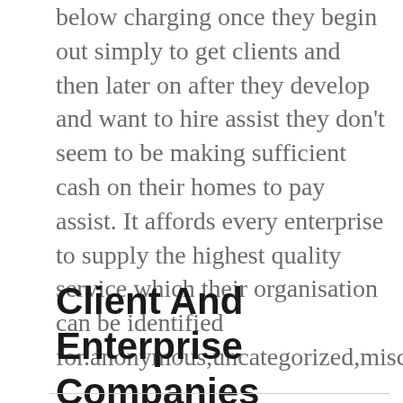below charging once they begin out simply to get clients and then later on after they develop and want to hire assist they don't seem to be making sufficient cash on their homes to pay assist. It affords every enterprise to supply the highest quality service which their organisation can be identified for.anonymous,uncategorized,misc,general,other
Client And Enterprise Companies